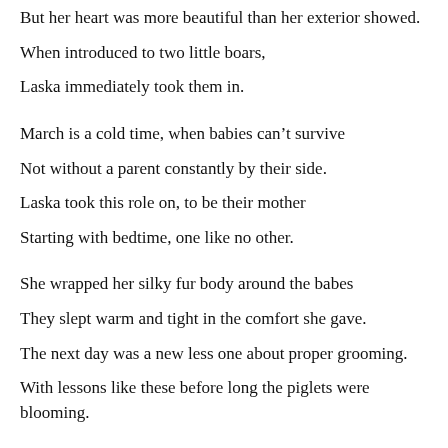But her heart was more beautiful than her exterior showed.
When introduced to two little boars,
Laska immediately took them in.
March is a cold time, when babies can't survive
Not without a parent constantly by their side.
Laska took this role on, to be their mother
Starting with bedtime, one like no other.
She wrapped her silky fur body around the babes
They slept warm and tight in the comfort she gave.
The next day was a new less one about proper grooming.
With lessons like these before long the piglets were blooming.